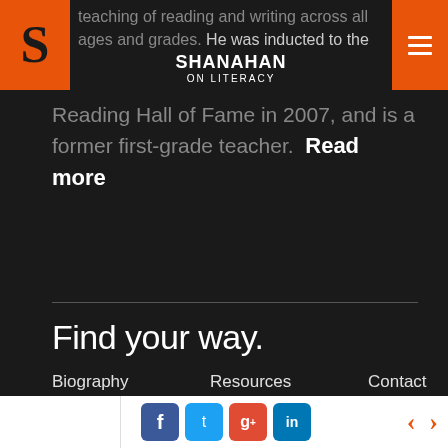SHANAHAN ON LITERACY
teaching of reading and writing across all ages and grades. He was inducted to the Reading Hall of Fame in 2007, and is a former first-grade teacher. Read more
Find your way.
Biography
Resources
Contact
Blog
Publications
Partnerships
Upcoming Appearances
Social media links: Facebook, Twitter, Google+, LinkedIn